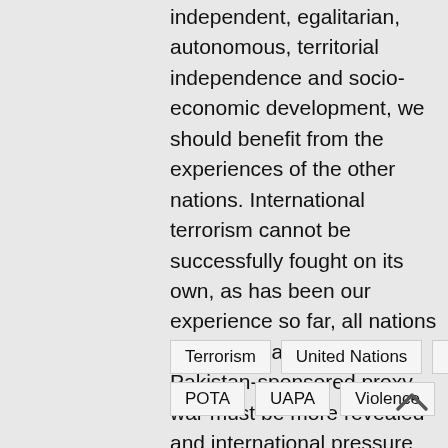independent, egalitarian, autonomous, territorial independence and socio-economic development, we should benefit from the experiences of the other nations. International terrorism cannot be successfully fought on its own, as has been our experience so far, all nations must join hands to fight it, Pakistan-sponsored proxy war must be more revealed and international pressure must be applied, we must more strongly stress the legitimacy of our cause and support for terrorism by these organisations, and action must be carried out by diplomacy and trade.
Terrorism
United Nations
9/11
POTA
UAPA
Violence